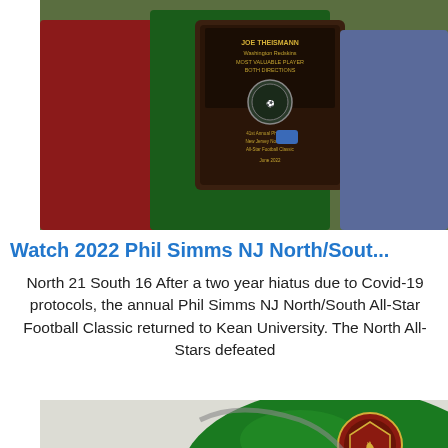[Figure (photo): Photo of football players, one holding a plaque that reads 'Joe Theismann Washington Redskins Most Valuable Player Both Directions' and '41st Annual Phil Simms New Jersey North/South All-Star Football Classic']
Watch 2022 Phil Simms NJ North/Sout...
North 21 South 16 After a two year hiatus due to Covid-19 protocols, the annual Phil Simms NJ North/South All-Star Football Classic returned to Kean University. The North All-Stars defeated
[Figure (photo): Close-up photo of a green football helmet with a logo on the side]